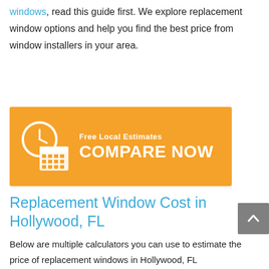windows, read this guide first. We explore replacement window options and help you find the best price from window installers in your area.
[Figure (infographic): Orange banner button with clock and calendar icon on left, text 'Free Local Estimates' above 'COMPARE NOW' in white on orange background.]
Replacement Window Cost in Hollywood, FL
Below are multiple calculators you can use to estimate the price of replacement windows in Hollywood, FL